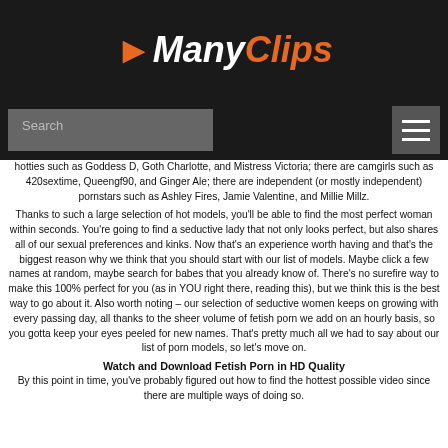[Figure (logo): ManyClips logo with orange X arrow and italic text 'Many' in white and 'Clips' in orange on dark background]
Search
hotties such as Goddess D, Goth Charlotte, and Mistress Victoria; there are camgirls such as 420sextime, Queengf90, and Ginger Ale; there are independent (or mostly independent) pornstars such as Ashley Fires, Jamie Valentine, and Millie Millz.
Thanks to such a large selection of hot models, you'll be able to find the most perfect woman within seconds. You're going to find a seductive lady that not only looks perfect, but also shares all of our sexual preferences and kinks. Now that's an experience worth having and that's the biggest reason why we think that you should start with our list of models. Maybe click a few names at random, maybe search for babes that you already know of. There's no surefire way to make this 100% perfect for you (as in YOU right there, reading this), but we think this is the best way to go about it. Also worth noting – our selection of seductive women keeps on growing with every passing day, all thanks to the sheer volume of fetish porn we add on an hourly basis, so you gotta keep your eyes peeled for new names. That's pretty much all we had to say about our list of porn models, so let's move on.
Watch and Download Fetish Porn in HD Quality
By this point in time, you've probably figured out how to find the hottest possible video since there are multiple ways of doing so.